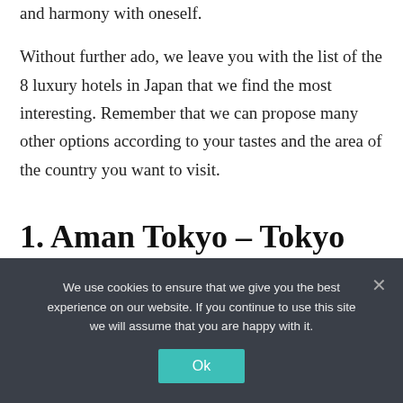and harmony with oneself.
Without further ado, we leave you with the list of the 8 luxury hotels in Japan that we find the most interesting. Remember that we can propose many other options according to your tastes and the area of the country you want to visit.
1. Aman Tokyo – Tokyo
We use cookies to ensure that we give you the best experience on our website. If you continue to use this site we will assume that you are happy with it.